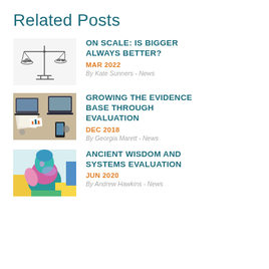Related Posts
[Figure (illustration): A balance scale with rocks on each side, line drawing style on white background.]
ON SCALE: IS BIGGER ALWAYS BETTER?
MAR 2022
By Kate Sunners - News
[Figure (photo): An overhead view of a busy desk with laptops, papers, charts, phones, and office supplies.]
GROWING THE EVIDENCE BASE THROUGH EVALUATION
DEC 2018
By Georgia Marett - News
[Figure (illustration): A colorful abstract illustration of a person in blues, greens, yellows, and pinks.]
ANCIENT WISDOM AND SYSTEMS EVALUATION
JUN 2020
By Andrew Hawkins - News